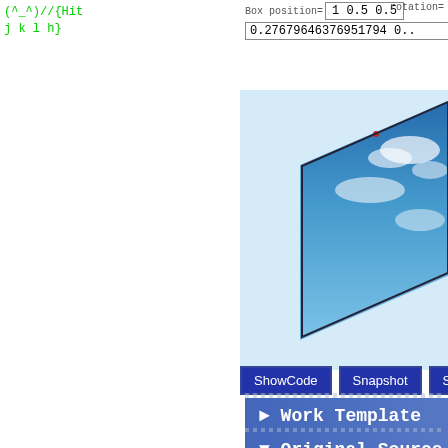(^_^)//{Hit
Box position= 1 0.5 0.5
rotation=
0.27679646376951794 0..
[Figure (screenshot): 3D rendered viewport showing a blue sky with clouds, with a tilted rectangular box/plane object textured with a sky photograph, visible in the upper-right area of the viewport. The viewport background is a light blue color.]
[Figure (logo): GShell logo - speech bubble outline in blue with italic bold text 'GShell' in blue inside]
ShowCode   Snapshot   Signature
► Work Template
▼ Original Source